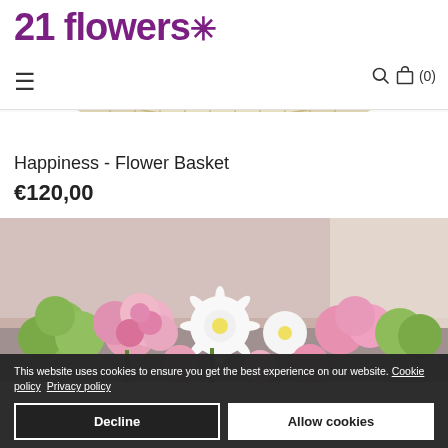[Figure (logo): 21 flowers logo with asterisk/star in purple]
[Figure (photo): White wicker flower basket with purple and white flowers and green foliage, partially cropped at top]
Happiness - Flower Basket
€120,00
[Figure (photo): Close-up of flower basket arrangement with pink roses, white daisies, green carnations, and pink chrysanthemums]
This website uses cookies to ensure you get the best experience on our website. Cookie policy   Privacy policy
Decline
Allow cookies